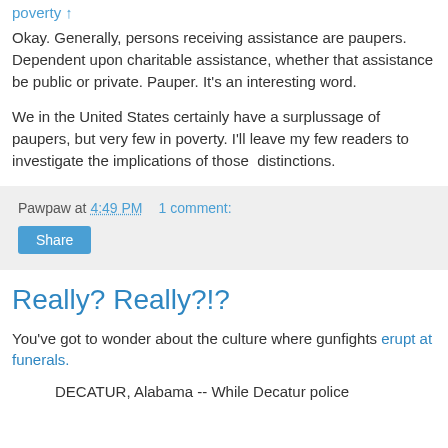poverty ↑
Okay.  Generally, persons receiving assistance are paupers.  Dependent upon charitable assistance, whether that assistance be public or private.  Pauper.  It's an interesting word.
We in the United States certainly have a surplussage of paupers, but very few in poverty.  I'll leave my few readers to investigate the implications of those  distinctions.
Pawpaw at 4:49 PM    1 comment:
Really? Really?!?
You've got to wonder about the culture where gunfights erupt at funerals.
DECATUR, Alabama -- While Decatur police